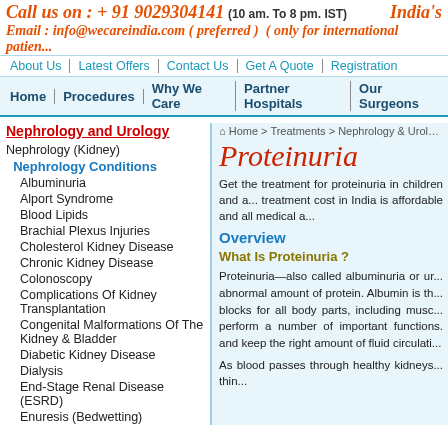Call us on : + 91 9029304141 (10 am. To 8 pm. IST)  India's
Email : info@wecareindia.com ( preferred )  ( only for international patients )
About Us | Latest Offers | Contact Us | Get A Quote | Registration
Home | Procedures | Why We Care | Partner Hospitals | Our Surgeons
Nephrology and Urology
Nephrology (Kidney)
Nephrology Conditions
Albuminuria
Alport Syndrome
Blood Lipids
Brachial Plexus Injuries
Cholesterol Kidney Disease
Chronic Kidney Disease
Colonoscopy
Complications Of Kidney Transplantation
Congenital Malformations Of The Kidney & Bladder
Diabetic Kidney Disease
Dialysis
End-Stage Renal Disease (ESRD)
Enuresis (Bedwetting)
Home > Treatments > Nephrology & Urology > Ne...
Proteinuria
Get the treatment for proteinuria in children and a... treatment cost in India is affordable and all medical a...
Overview
What Is Proteinuria ?
Proteinuria—also called albuminuria or ur... abnormal amount of protein. Albumin is th... blocks for all body parts, including musc... perform a number of important functions. and keep the right amount of fluid circulati...
As blood passes through healthy kidneys... thin...